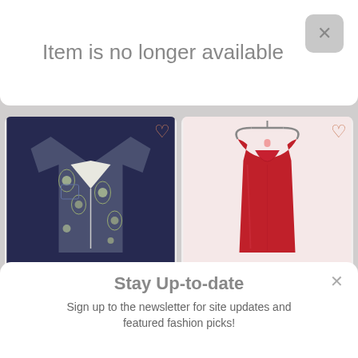Item is no longer available
[Figure (photo): Tommy Bahama XL floral Hawaiian short-sleeve shirt on dark background]
Tommy Bahama XL
$ 27.77
[Figure (photo): Red sleeveless blouse by Laundry by Shelli Segal on hanger, light background]
Laundry by Shelli Segal
$ 15.00
Stay Up-to-date
Sign up to the newsletter for site updates and featured fashion picks!